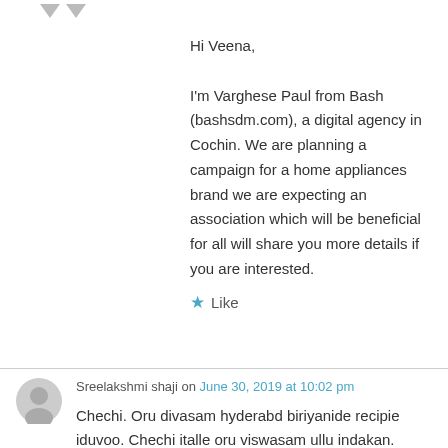Hi Veena,

I'm Varghese Paul from Bash (bashsdm.com), a digital agency in Cochin. We are planning a campaign for a home appliances brand we are expecting an association which will be beneficial for all will share you more details if you are interested.
★ Like
Sreelakshmi shaji on June 30, 2019 at 10:02 pm
Chechi. Oru divasam hyderabd biriyanide recipie iduvoo. Chechi italle oru viswasam ullu indakan.
★ Like